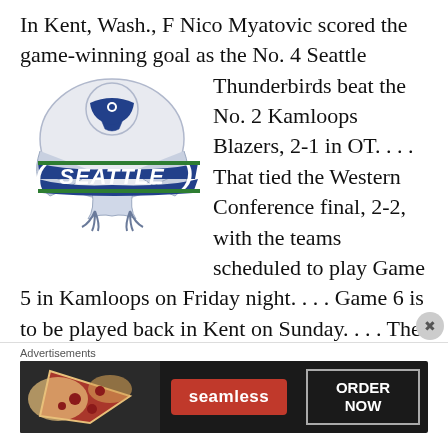In Kent, Wash., F Nico Myatovic scored the game-winning goal as the No. 4 Seattle Thunderbirds beat the No. 2 Kamloops Blazers, 2-1 in OT. . . . That tied the Western Conference final, 2-2, with the teams scheduled to play Game 5 in Kamloops on Friday night. . . . Game 6 is to be played back in Kent on Sunday. . . . The Blazers took a 1-0 lead into the second period after F Daylan Kuefler (7) scored, on a PP, at 19:06 of the first.
[Figure (logo): Seattle Thunderbirds hockey team logo — a stylized thunderbird above a banner reading SEATTLE in bold italic letters, in blue and green colors]
Advertisements
[Figure (other): Seamless food delivery advertisement showing pizza image on the left, Seamless red pill logo in center, and ORDER NOW button on right, on a dark background]